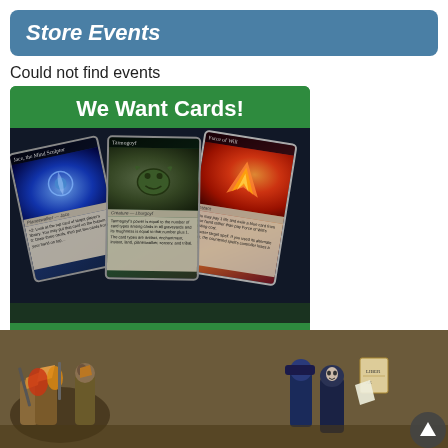Store Events
Could not find events
[Figure (illustration): Promotional banner: 'We Want Cards!' with Magic: The Gathering card images (Jace the Mind Sculptor, Tarmogoyf, Force of Will) and 'View Our Buylist!' call to action on green background]
[Figure (photo): Photo of painted Warhammer 40K/fantasy miniatures — ork-like figures in colorful attire with weapons, on a gaming table background]